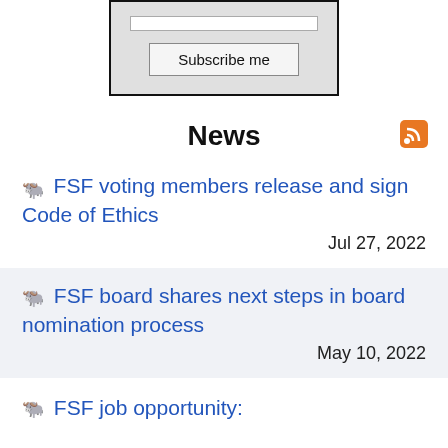[Figure (screenshot): Subscribe form with input bar and 'Subscribe me' button on grey background with black border]
News
FSF voting members release and sign Code of Ethics — Jul 27, 2022
FSF board shares next steps in board nomination process — May 10, 2022
FSF job opportunity: